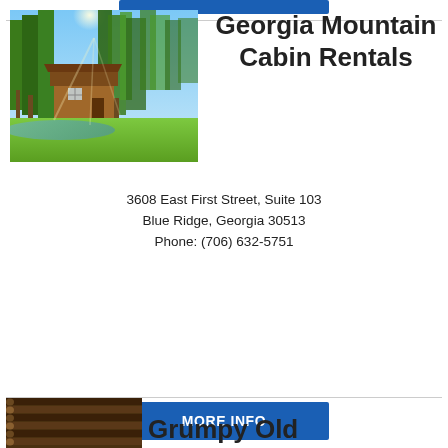[Figure (other): Blue button/banner at top of page, partially visible]
[Figure (photo): Outdoor photo of a wooden cabin surrounded by tall trees with sunlight filtering through, green grassy area in foreground near a stream]
Georgia Mountain Cabin Rentals
3608 East First Street, Suite 103 Blue Ridge, Georgia 30513
Phone: (706) 632-5751
[Figure (other): Blue MORE INFO button]
[Figure (logo): Accessibility icon - blue circle with wheelchair user symbol]
[Figure (photo): Bottom of page showing partial photo of next listing and partial title 'Grumpy Old']